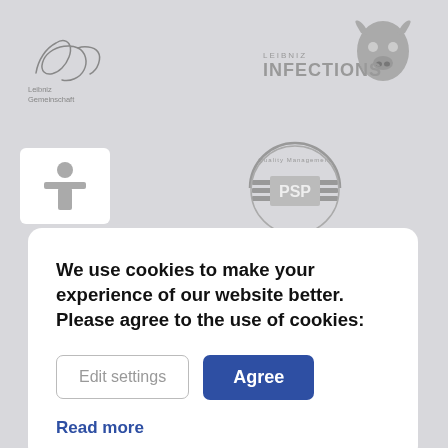[Figure (logo): Leibniz Gemeinschaft logo with cursive Leibniz signature and text 'Leibniz Gemeinschaft']
[Figure (logo): Leibniz Infections logo with bull/demon head silhouette and text 'LEIBNIZ INFECTIONS']
[Figure (logo): Small white card with stylized person/TT logo mark in gray]
[Figure (logo): PSP Quality Management circular logo with horizontal lines]
We use cookies to make your experience of our website better. Please agree to the use of cookies:
Edit settings
Agree
Read more